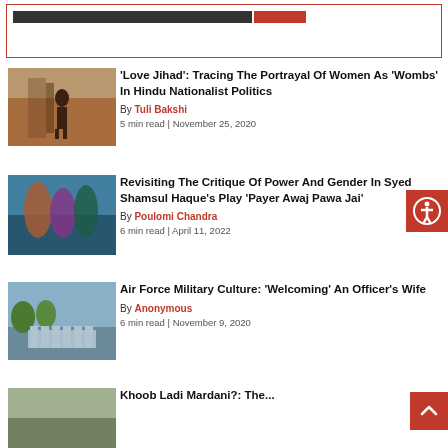[Figure (screenshot): Top banner with dark bar and red accent]
[Figure (photo): Photo of a person near a stone wall]
'Love Jihad': Tracing The Portrayal Of Women As 'Wombs' In Hindu Nationalist Politics
By Tuli Bakshi
5 min read | November 25, 2020
[Figure (photo): Photo of people in traditional costumes on stage]
Revisiting The Critique Of Power And Gender In Syed Shamsul Haque's Play 'Payer Awaj Pawa Jai'
By Poulomi Chandra
6 min read | April 11, 2022
[Figure (photo): Photo of Air Force personnel in uniform]
Air Force Military Culture: 'Welcoming' An Officer's Wife
By Anonymous
6 min read | November 9, 2020
[Figure (photo): Partial photo at bottom of page]
Khoob Ladi Mardani?: The...